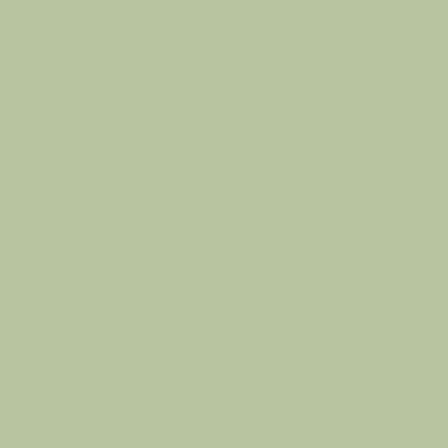You have to have a
I have a Close Con
My Small Maps Mo discussion
Back to top
profile   pm
platoon_michael
[Figure (photo): Avatar image showing a tank/military map top-down view, grayscale]
Rep: 47.6 +|- votes: 25
Posted: Wed Mar 2 Channel
So I got the whole window opens the Thus not allowing
Back to top
profile   pm
Stwa
[Figure (photo): Avatar image of a skull/skeletal character with glowing eyes, horror style]
Posted: Thu Mar 2
More than likely th now a more length agencies before yo